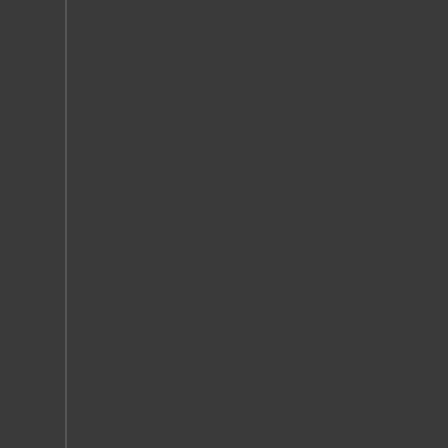the euphoria associated with coca- use can trigger tremendous cravin- of abstinence. Through the use o- dynamic changes that occur in the- different brain changes that occur- the craving for cocaine. They can- cocaine addict sees or hears envir- studies help us by pinpointing spe- regions are critical to identifying tar-
Crack Cocaine Abuse Help, Dow-
Crack cocaine abuse is usually no- given and something done about t- mount up and become more difficu- first line of defense or offense in- crack cocaine abuse is already a- sources of the difficulty. Disorders- not genes. Depression, guilt, and c- abuse. The solution is to fully deto- the help of drugs.
Just cutting down on crack cocaine- level always goes back up again.- crack cocaine abuse now. Don't p- using crack cocaine for an extende- withdrawal. Additionally, the individ- period of time. This craving is nor- very difficult for anyone who has a- their own without help from a profe- crack cocaine abuse help on this w-
Ecstasy Abuse Help, Downieville-
Ecstasy abuse help involves a mu- individual goes through a detoxific- system. Secondly, they need to- therapy. This two part process-